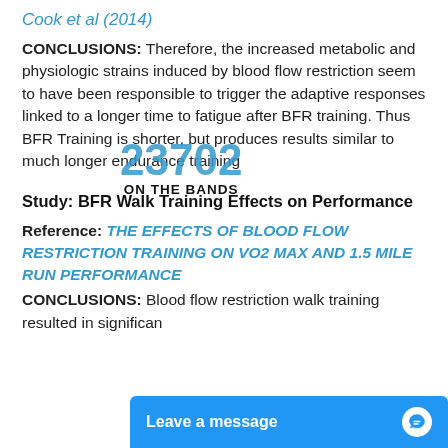Cook et al (2014)
CONCLUSIONS: Therefore, the increased metabolic and physiologic strains induced by blood flow restriction seem to have been responsible to trigger the adaptive responses linked to a longer time to fatigue after BFR training. Thus BFR Training is shorter, but produces results similar to much longer endurance training
Study: BFR Walk Training Effects on Performance
Reference: THE EFFECTS OF BLOOD FLOW RESTRICTION TRAINING ON VO2 MAX AND 1.5 MILE RUN PERFORMANCE
CONCLUSIONS: Blood flow restriction walk training resulted in significan